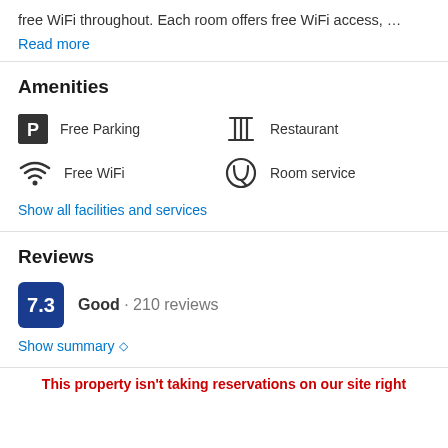free WiFi throughout. Each room offers free WiFi access, …
Read more
Amenities
Free Parking
Free WiFi
Restaurant
Room service
Show all facilities and services
Reviews
7.3  Good · 210 reviews
Show summary ◇
This property isn't taking reservations on our site right